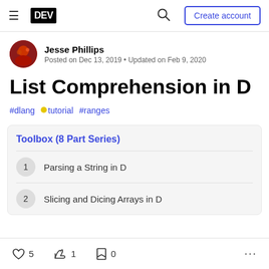DEV — Create account
Jesse Phillips
Posted on Dec 13, 2019 • Updated on Feb 9, 2020
List Comprehension in D
#dlang  #tutorial  #ranges
Toolbox (8 Part Series)
1  Parsing a String in D
2  Slicing and Dicing Arrays in D
5  1  0  ...